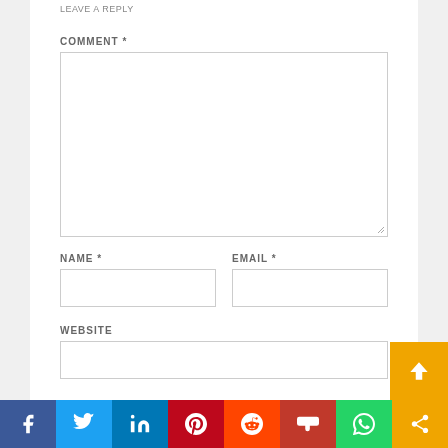LEAVE A REPLY
COMMENT *
[Figure (screenshot): Large comment textarea input field]
NAME *
[Figure (screenshot): Name input text field]
EMAIL *
[Figure (screenshot): Email input text field]
WEBSITE
[Figure (screenshot): Website input text field]
[Figure (screenshot): Social media sharing bar with icons: Facebook, Twitter, LinkedIn, Pinterest, Reddit, Mix, WhatsApp, Share]